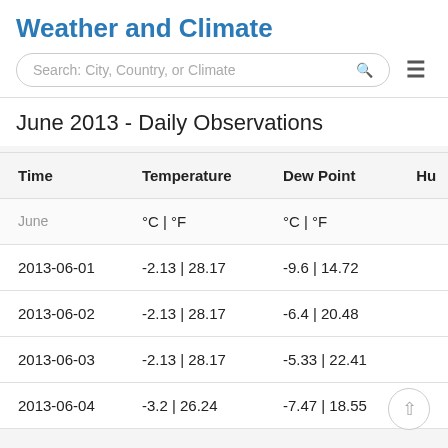Weather and Climate
Search: City, Country, or Climate
June 2013 - Daily Observations
| Time | Temperature | Dew Point | Hu |
| --- | --- | --- | --- |
| June | °C | °F | °C | °F |  |
| 2013-06-01 | -2.13 | 28.17 | -9.6 | 14.72 |  |
| 2013-06-02 | -2.13 | 28.17 | -6.4 | 20.48 |  |
| 2013-06-03 | -2.13 | 28.17 | -5.33 | 22.41 |  |
| 2013-06-04 | -3.2 | 26.24 | -7.47 | 18.55 |  |